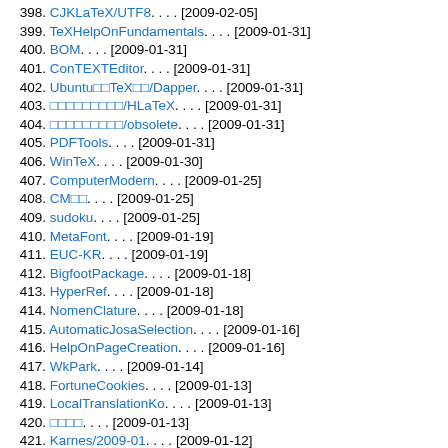398. CJKLaTeX/UTF8. . . . [2009-02-05]
399. TeXHelpOnFundamentals. . . . [2009-01-31]
400. BOM. . . . [2009-01-31]
401. ConTEXTEditor. . . . [2009-01-31]
402. Ubuntu□□TeX□□/Dapper. . . . [2009-01-31]
403. □□□□□□□□□/HLaTeX. . . . [2009-01-31]
404. □□□□□□□□□/obsolete. . . . [2009-01-31]
405. PDFTools. . . . [2009-01-31]
406. WinTeX. . . . [2009-01-30]
407. ComputerModern. . . . [2009-01-25]
408. CM□□. . . . [2009-01-25]
409. sudoku. . . . [2009-01-25]
410. MetaFont. . . . [2009-01-19]
411. EUC-KR. . . . [2009-01-19]
412. BigfootPackage. . . . [2009-01-18]
413. HyperRef. . . . [2009-01-18]
414. NomenClature. . . . [2009-01-18]
415. AutomaticJosaSelection. . . . [2009-01-16]
416. HelpOnPageCreation. . . . [2009-01-16]
417. WkPark. . . . [2009-01-14]
418. FortuneCookies. . . . [2009-01-13]
419. LocalTranslationKo. . . . [2009-01-13]
420. □□□□. . . . [2009-01-13]
421. Karnes/2009-01. . . . [2009-01-12]
422. EditTextForm. . . . [2009-01-11]
423. CategoryLaTeXPackage. . . . [2009-01-11]
424. Algorithm. . . . [2009-01-11]
425. RubyPackage. . . . [2009-01-11]
426. ruby. . . . [2009-01-11]
427. TeXShop/DVIPDFMx. . . . [2009-01-11]
428. SfdProcessor. . . . [2009-01-10]
429. TeXShop/PDFSync. . . . [2009-01-10]